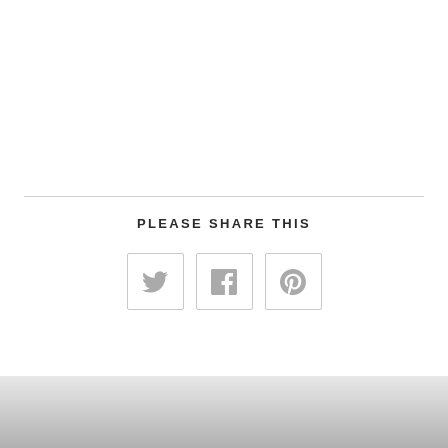PLEASE SHARE THIS
[Figure (illustration): Three social media share buttons in a row: Twitter (bird icon), Facebook (f icon), and Pinterest (P icon), each in a light-bordered square box]